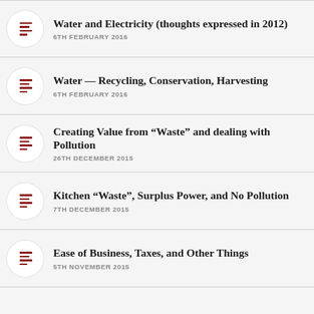Water and Electricity (thoughts expressed in 2012)
Water — Recycling, Conservation, Harvesting
Creating Value from “Waste” and dealing with Pollution
Kitchen “Waste”, Surplus Power, and No Pollution
Ease of Business, Taxes, and Other Things